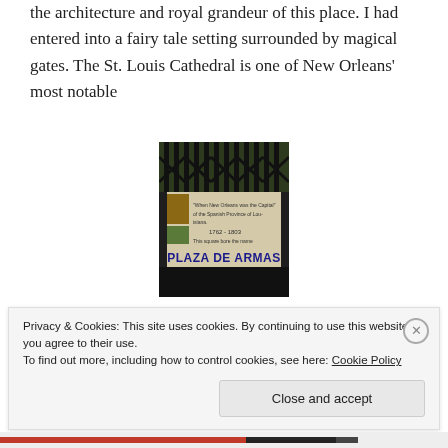the architecture and royal grandeur of this place. I had entered into a fairy tale setting surrounded by magical gates. The St. Louis Cathedral is one of New Orleans' most notable
[Figure (photo): Photo of a decorative sign reading 'Plaza de Armas' with historical text, mounted behind ornate iron gates]
landmarks. This gorgeous building, its triple steeples
Privacy & Cookies: This site uses cookies. By continuing to use this website, you agree to their use.
To find out more, including how to control cookies, see here: Cookie Policy

Close and accept